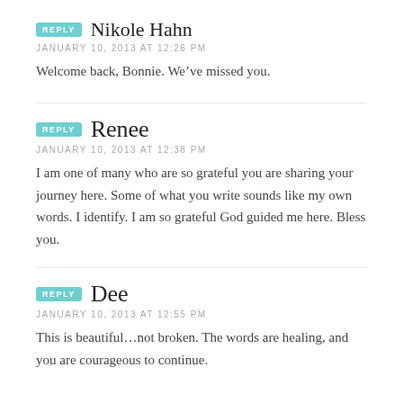REPLY Nikole Hahn
JANUARY 10, 2013 AT 12:26 PM
Welcome back, Bonnie. We've missed you.
REPLY Renee
JANUARY 10, 2013 AT 12:38 PM
I am one of many who are so grateful you are sharing your journey here. Some of what you write sounds like my own words. I identify. I am so grateful God guided me here. Bless you.
REPLY Dee
JANUARY 10, 2013 AT 12:55 PM
This is beautiful…not broken. The words are healing, and you are courageous to continue.